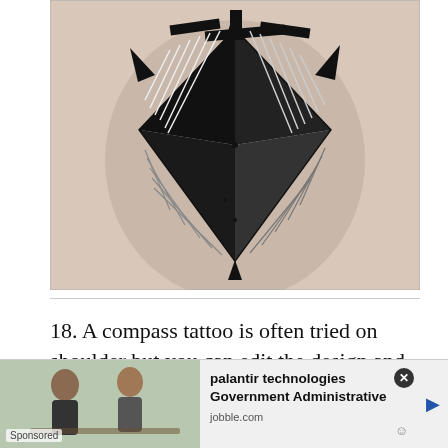[Figure (photo): A black geometric compass/sword tattoo on a person's shoulder/upper arm. The tattoo features angular, hatched linework forming a compass rose or sword design with sharp points and dense crosshatching in black ink.]
18. A compass tattoo is often tried on shoulder but you can edit the design and move it forec...
[Figure (screenshot): Sponsored advertisement overlay for 'palantir technologies Government Administrative' from jobble.com, with two people visible in an office image on the left side.]